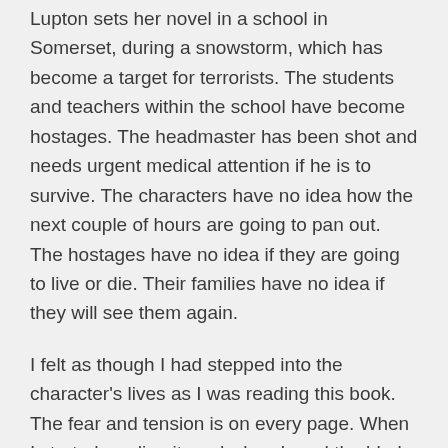Lupton sets her novel in a school in Somerset, during a snowstorm, which has become a target for terrorists. The students and teachers within the school have become hostages. The headmaster has been shot and needs urgent medical attention if he is to survive. The characters have no idea how the next couple of hours are going to pan out. The hostages have no idea if they are going to live or die. Their families have no idea if they will see them again.
I felt as though I had stepped into the character's lives as I was reading this book. The fear and tension is on every page. When I started reading it, and when I read the blurb, I thought it sounded similar to Fierce Kingdom, which I read a few years ago. But Rosamund Lupton makes her story so unique in the voices and stories of her characters. They all feel very real, and I could imagine